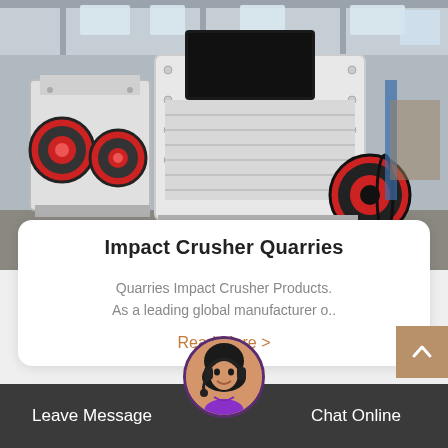[Figure (photo): Industrial impact crusher machines in a factory/warehouse setting. Large white heavy machinery with red and black wheel components visible. Industrial ceiling with skylights in background.]
Impact Crusher Quarries
Quarries Impact Crusher Products. As a leading global manufacturer o..
Read More >
Leave Message
Chat Online